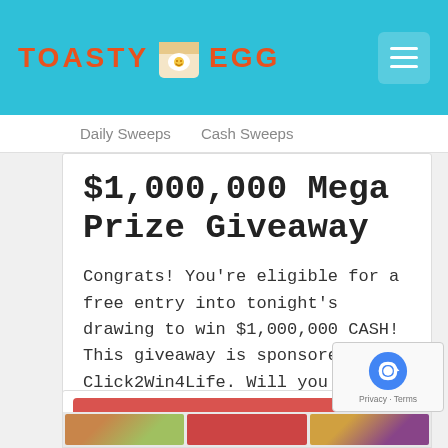TOASTY EGG
Daily Sweeps   Cash Sweeps
$1,000,000 Mega Prize Giveaway
Congrats! You're eligible for a free entry into tonight's drawing to win $1,000,000 CASH! This giveaway is sponsored by Click2Win4Life. Will you become their next winner?
Enter this Sweepstakes
[Figure (screenshot): reCAPTCHA badge with logo and Privacy/Terms links]